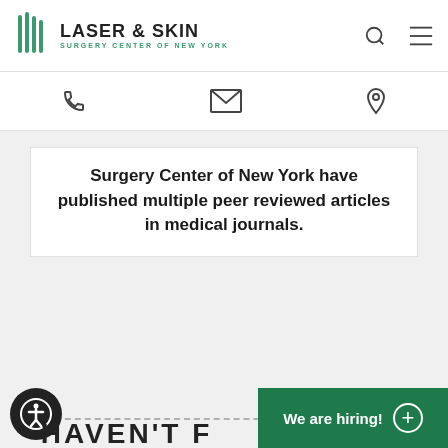[Figure (logo): Laser & Skin Surgery Center of New York logo with green stripe icon and text]
[Figure (infographic): Navigation icon bar with phone, email, and location icons]
Surgery Center of New York have published multiple peer reviewed articles in medical journals.
[Figure (infographic): Pagination bar showing pages 155, 156, 157 (active), 158, 159 with previous arrow and next arrow]
[Figure (infographic): Accessibility button (person in circle icon) and We are hiring! green banner with plus button]